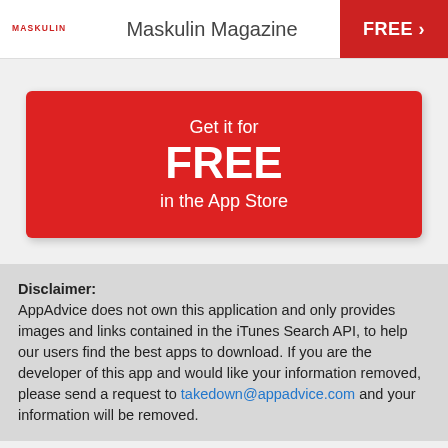MASKULIN   Maskulin Magazine   FREE >
[Figure (infographic): Red rounded rectangle button with white text: 'Get it for FREE in the App Store']
Disclaimer: AppAdvice does not own this application and only provides images and links contained in the iTunes Search API, to help our users find the best apps to download. If you are the developer of this app and would like your information removed, please send a request to takedown@appadvice.com and your information will be removed.